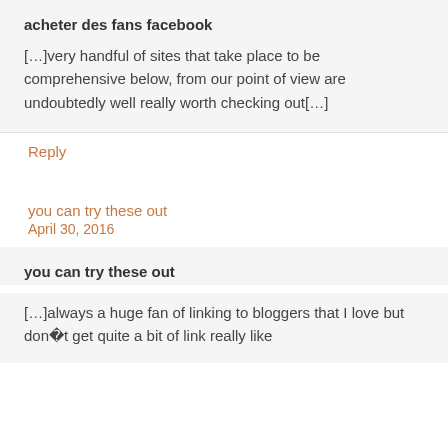acheter des fans facebook
[…]very handful of sites that take place to be comprehensive below, from our point of view are undoubtedly well really worth checking out[…]
Reply
you can try these out
April 30, 2016
you can try these out
[…]always a huge fan of linking to bloggers that I love but don�t get quite a bit of link really like